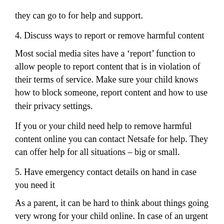they can go to for help and support.
4. Discuss ways to report or remove harmful content
Most social media sites have a ‘report’ function to allow people to report content that is in violation of their terms of service. Make sure your child knows how to block someone, report content and how to use their privacy settings.
If you or your child need help to remove harmful content online you can contact Netsafe for help. They can offer help for all situations – big or small.
5. Have emergency contact details on hand in case you need it
As a parent, it can be hard to think about things going very wrong for your child online. In case of an urgent situation, it’s worth having an understanding of what